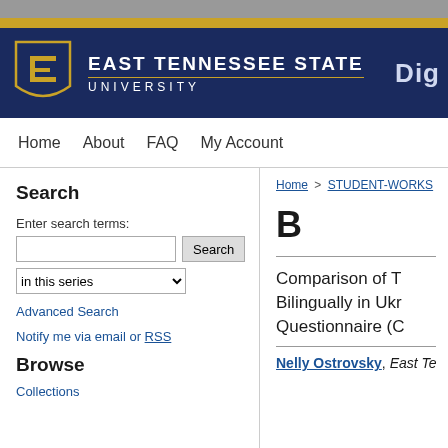[Figure (logo): East Tennessee State University logo with shield and text on navy background]
Home | About | FAQ | My Account
Home > STUDENT-WORKS > ET
B
Search
Enter search terms:
in this series
Advanced Search
Notify me via email or RSS
Browse
Collections
Comparison of To Bilingually in Ukr Questionnaire (C
Nelly Ostrovsky, East Tennes